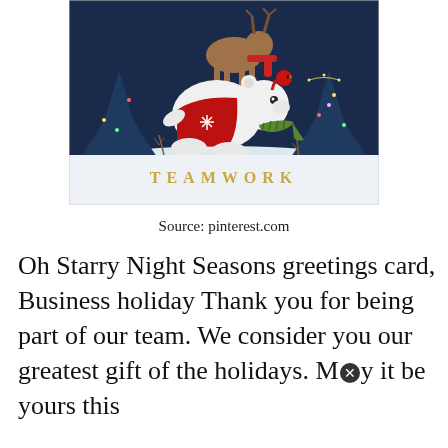[Figure (illustration): Holiday greeting card illustration showing a white polar bear wearing a red sweater with snowflake and green scarf, a reindeer with red scarf above it, a red cardinal bird, decorated Christmas trees with lights, snow on the ground, all on a dark navy blue background. The word TEAMWORK is written in gold letters at the bottom of the card.]
Source: pinterest.com
Oh Starry Night Seasons greetings card, Business holiday Thank you for being part of our team. We consider you our greatest gift of the holidays. May it be yours this